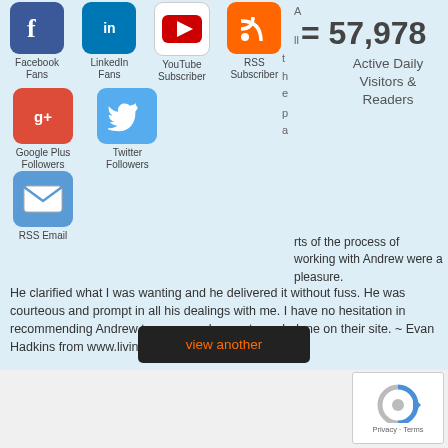[Figure (infographic): Social media icons row 1: Facebook Fans, LinkedIn Fans, YouTube Subscriber, RSS Subscriber]
= 57,978
Active Daily Visitors & Readers
[Figure (infographic): Social media icons row 2: Google Plus Followers, Twitter Followers, RSS Email]
All the parts of the process of working with Andrew were a pleasure. He clarified what I was wanting and he delivered it without fuss. He was courteous and prompt in all his dealings with me. I have no hesitation in recommending Andrew to anyone who wants work done on their site. ~ Evan Hadkins from www.livingauthentically.org
[Figure (other): view another button]
[Figure (other): reCAPTCHA widget with Privacy - Terms]